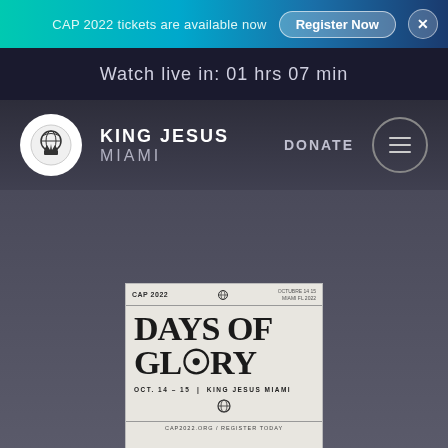CAP 2022 tickets are available now  Register Now
Watch live in: 01 hrs 07 min
[Figure (logo): King Jesus Miami logo - white circle with symbolic emblem]
KING JESUS MIAMI
DONATE
[Figure (screenshot): CAP 2022 Days of Glory event flyer - black text on light background. Shows 'DAYS OF GLORY' in large gothic/blackletter style font, OCT. 14-15 | KING JESUS MIAMI, CAP 2022 header, and website URL at bottom.]